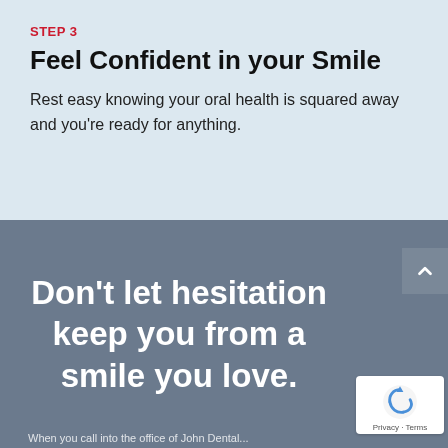STEP 3
Feel Confident in your Smile
Rest easy knowing your oral health is squared away and you're ready for anything.
Don't let hesitation keep you from a smile you love.
[Figure (other): reCAPTCHA badge with logo and Privacy - Terms text]
When you call into the office of John Dental...